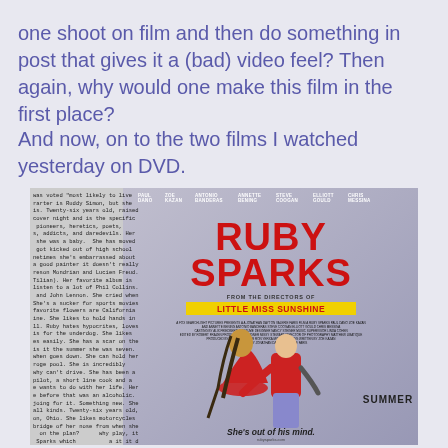one shoot on film and then do something in post that gives it a (bad) video feel? Then again, why would one make this film in the first place?
And now, on to the two films I watched yesterday on DVD.
[Figure (photo): Movie poster for Ruby Sparks. Shows the title 'RUBY SPARKS' in large red block letters, tagline 'FROM THE DIRECTORS OF LITTLE MISS SUNSHINE', cast names at top (Paul Dano, Zoe Kazan, Antonio Banderas, Annette Bening, Steve Coogan, Elliott Gould, Chris Messina). Overlaid on the left is small typewritten text. Bottom shows a couple embracing with the tagline 'She's out of his mind.' and the word 'SUMMER'.]